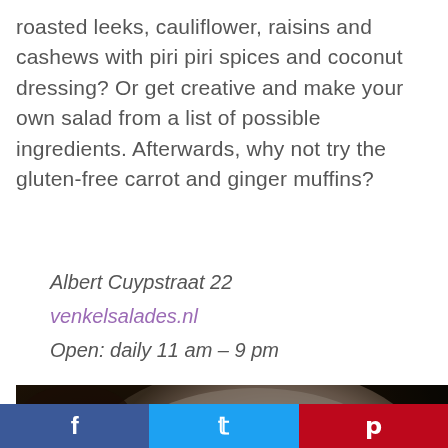roasted leeks, cauliflower, raisins and cashews with piri piri spices and coconut dressing? Or get creative and make your own salad from a list of possible ingredients. Afterwards, why not try the gluten-free carrot and ginger muffins?
Albert Cuypstraat 22
venkelsalades.nl
Open: daily 11 am – 9 pm
[Figure (photo): Dark moody close-up photograph of a plate/bowl with food, dark background with warm tones]
f  [Facebook]  |  Twitter  |  Pinterest